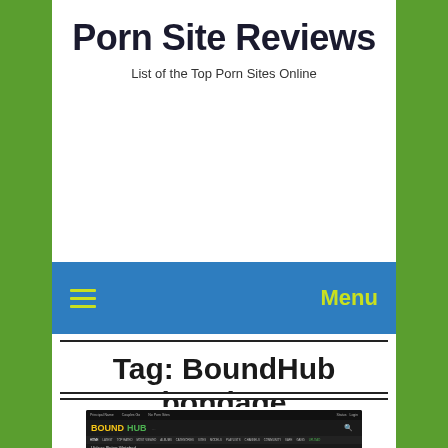Porn Site Reviews
List of the Top Porn Sites Online
Menu
Tag: BoundHub bondage
[Figure (screenshot): Screenshot of BoundHub website showing navigation bar with LATEST, TOP RATED, MOST VIEWED, ALBUMS, CATEGORIES, SITES, MODELS, PLAYLISTS, CHANNELS, COMMUNITY, SAFE, GANG, UPLOAD menu items. Below is a 'Videos Being Watched' section with video thumbnails. A cartoon mascot character appears in the bottom right corner.]